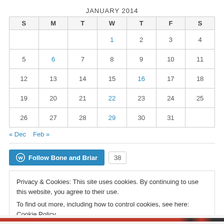JANUARY 2014
| S | M | T | W | T | F | S |
| --- | --- | --- | --- | --- | --- | --- |
|  |  |  | 1 | 2 | 3 | 4 |
| 5 | 6 | 7 | 8 | 9 | 10 | 11 |
| 12 | 13 | 14 | 15 | 16 | 17 | 18 |
| 19 | 20 | 21 | 22 | 23 | 24 | 25 |
| 26 | 27 | 28 | 29 | 30 | 31 |  |
« Dec   Feb »
Follow Bone and Briar  38
Privacy & Cookies: This site uses cookies. By continuing to use this website, you agree to their use.
To find out more, including how to control cookies, see here: Cookie Policy
Close and accept